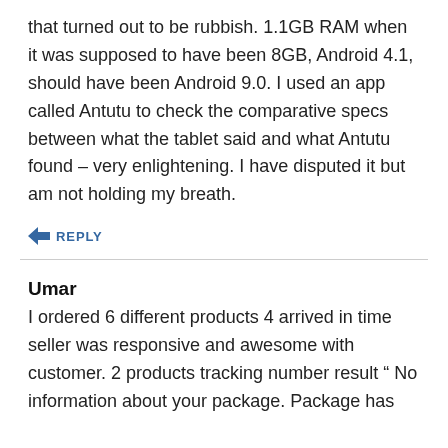that turned out to be rubbish. 1.1GB RAM when it was supposed to have been 8GB, Android 4.1, should have been Android 9.0. I used an app called Antutu to check the comparative specs between what the tablet said and what Antutu found – very enlightening. I have disputed it but am not holding my breath.
↩ REPLY
Umar
I ordered 6 different products 4 arrived in time seller was responsive and awesome with customer. 2 products tracking number result " No information about your package. Package has